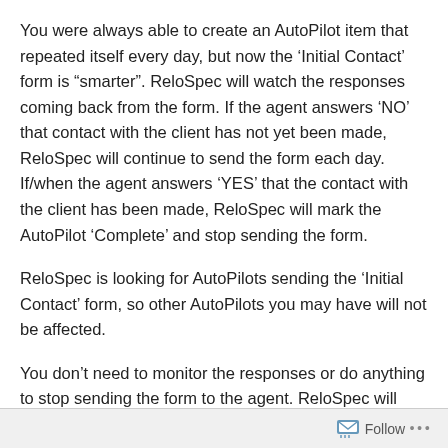You were always able to create an AutoPilot item that repeated itself every day, but now the ‘Initial Contact’ form is “smarter”.  ReloSpec will watch the responses coming back from the form.  If the agent answers ‘NO’ that contact with the client has not yet been made, ReloSpec will continue to send the form each day.  If/when the agent answers ‘YES’ that the contact with the client has been made, ReloSpec will mark the AutoPilot ‘Complete’ and stop sending the form.
ReloSpec is looking for AutoPilots sending the ‘Initial Contact’ form, so other AutoPilots you may have will not be affected.
You don’t need to monitor the responses or do anything to stop sending the form to the agent.  ReloSpec will watch
Follow